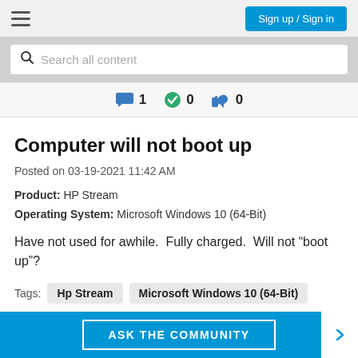Sign up / Sign in
Search all content
1  0  0
Computer will not boot up
Posted on 03-19-2021 11:42 AM
Product: HP Stream
Operating System: Microsoft Windows 10 (64-Bit)
Have not used for awhile.  Fully charged.  Will not "boot up"?
Tags: Hp Stream   Microsoft Windows 10 (64-Bit)
ASK THE COMMUNITY